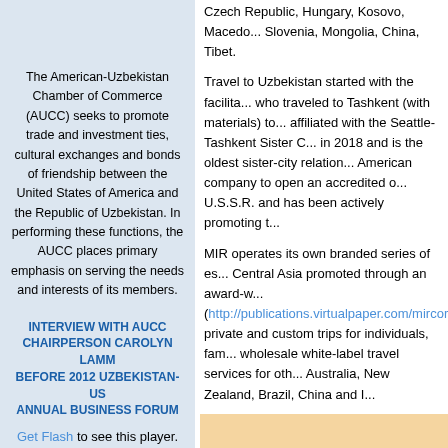The American-Uzbekistan Chamber of Commerce (AUCC) seeks to promote trade and investment ties, cultural exchanges and bonds of friendship between the United States of America and the Republic of Uzbekistan. In performing these functions, the AUCC places primary emphasis on serving the needs and interests of its members.
INTERVIEW WITH AUCC CHAIRPERSON CAROLYN LAMM BEFORE 2012 UZBEKISTAN-US ANNUAL BUSINESS FORUM
Get Flash to see this player.
» AUCC EVENTS
« August, 2022 »
Czech Republic, Hungary, Kosovo, Macedo... Slovenia, Mongolia, China, Tibet.
Travel to Uzbekistan started with the facilita... who traveled to Tashkent (with materials) to... affiliated with the Seattle-Tashkent Sister C... in 2018 and is the oldest sister-city relation... American company to open an accredited o... U.S.S.R. and has been actively promoting t...
MIR operates its own branded series of es... Central Asia promoted through an award-w... (http://publications.virtualpaper.com/mircorp...) private and custom trips for individuals, fam... wholesale white-label travel services for oth... Australia, New Zealand, Brazil, China and I...
Through its registered representative office... designers and trip leaders as well as pione... Central Asia.